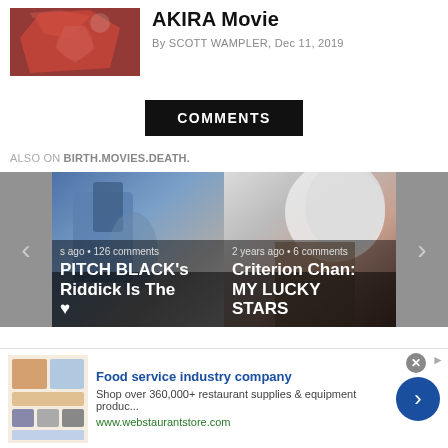[Figure (photo): Thumbnail image for AKIRA movie article — colorful anime-style illustration]
AKIRA Movie
By SCOTT WAMPLER, Dec 11, 2019
COMMENTS
ALSO ON BIRTH.MOVIES.DEATH.
[Figure (photo): Carousel card 1: PITCH BLACK's Riddick Is The — image shows figure in blue tones. Caption: s ago • 126 comments]
[Figure (photo): Carousel card 2: Criterion Chan: MY LUCKY STARS — anime/photo composite image. Caption: 2 years ago • 6 comments]
[Figure (infographic): Advertisement: Food service industry company — Shop over 360,000+ restaurant supplies & equipment produc... www.webstaurantstore.com]